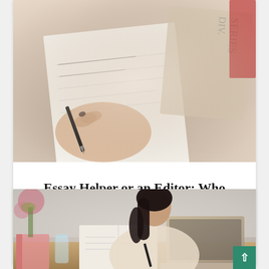[Figure (photo): Close-up of hands writing in a notebook with a pen, with papers and books in the background]
Essay Helper or an Editor: Who Can Help You Better With Academics?
4 min read
[Figure (photo): Woman with dark hair in a beige blazer writing in a notebook at a desk with a laptop, with a pink book and glass of water visible]